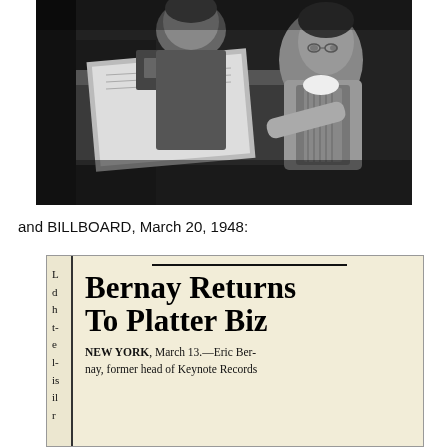[Figure (photo): Black and white photograph of two men, one in a vest leaning over what appears to be a piano or desk, looking at sheet music or documents. The scene appears to be from the 1940s era.]
and BILLBOARD, March 20, 1948:
[Figure (photo): Newspaper clipping from Billboard magazine dated March 20, 1948. Headline reads 'Bernay Returns To Platter Biz'. Subtext: 'NEW YORK, March 13.—Eric Bernay, former head of Keynote Records'. Left column shows partial text fragments: d, h, t-, e, l-, is, il, r.]